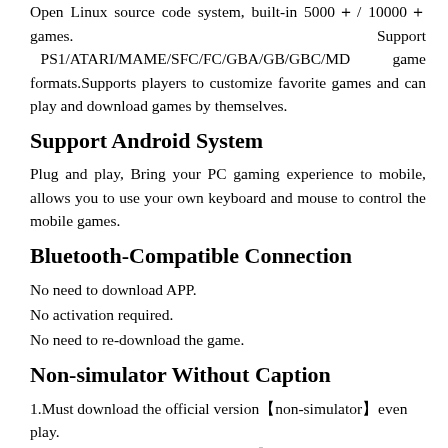Open Linux source code system, built-in 5000＋/ 10000＋ games. Support PS1/ATARI/MAME/SFC/FC/GBA/GB/GBC/MD game formats.Supports players to customize favorite games and can play and download games by themselves.
Support Android System
Plug and play, Bring your PC gaming experience to mobile, allows you to use your own keyboard and mouse to control the mobile games.
Bluetooth-Compatible Connection
No need to download APP.
No activation required.
No need to re-download the game.
Non-simulator Without Caption
1.Must download the official version【non-simulator】even play.
2.Do not use any auxiliary plug-ins【including physical plug-ins】macro mouse).